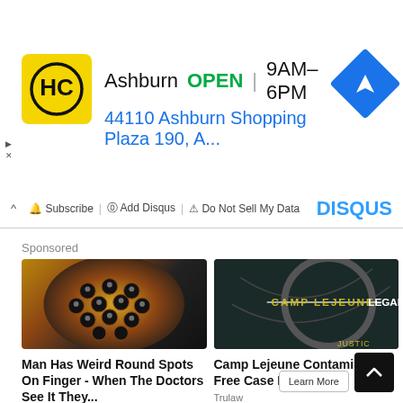[Figure (screenshot): HC logo yellow square with HC letters in black circle]
Ashburn  OPEN | 9AM–6PM
44110 Ashburn Shopping Plaza 190, A...
[Figure (logo): Blue diamond navigation arrow icon]
▲
✕
Subscribe  Add Disqus  Do Not Sell My Data
DISQUS
Sponsored
[Figure (photo): Close-up photo of weird round spots on a finger, honeycomb-like pattern with dark holes]
[Figure (photo): Dark image with text CAMP LEJEUNE LEGAL overlaid, military dog tags visible]
Man Has Weird Round Spots On Finger - When The Doctors See It They...
FactAhead
Camp Lejeune Contamination Free Case Evaluation
Trulaw
Learn More